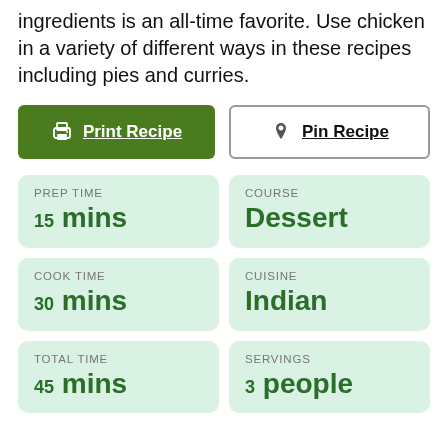ingredients is an all-time favorite. Use chicken in a variety of different ways in these recipes including pies and curries.
Print Recipe
Pin Recipe
PREP TIME
15 mins
COURSE
Dessert
COOK TIME
30 mins
CUISINE
Indian
TOTAL TIME
45 mins
SERVINGS
3 people